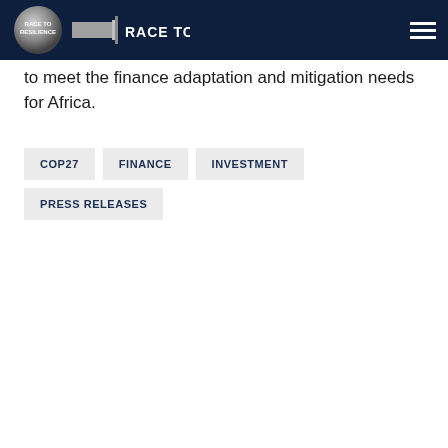Race to Resilience | Race to Zero
to meet the finance adaptation and mitigation needs for Africa.
COP27
FINANCE
INVESTMENT
PRESS RELEASES